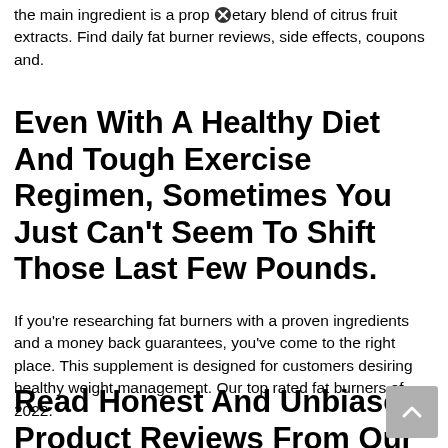the main ingredient is a proprietary blend of citrus fruit extracts. Find daily fat burner reviews, side effects, coupons and.
Even With A Healthy Diet And Tough Exercise Regimen, Sometimes You Just Can't Seem To Shift Those Last Few Pounds.
If you're researching fat burners with a proven ingredients and a money back guarantees, you've come to the right place. This supplement is designed for customers desiring healthy weight management. Our top rated fat burners of 2022.
Read Honest And Unbiased Product Reviews From Our Users.